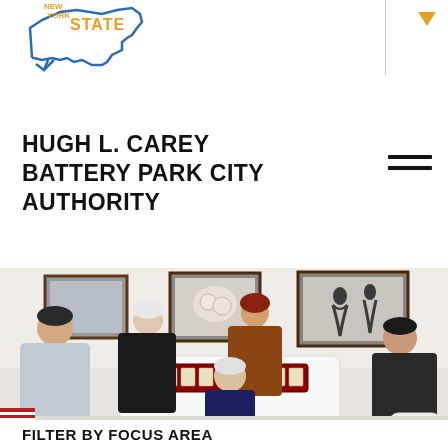[Figure (logo): New York State logo with outline of NY state in blue and 'STATE' text in orange/yellow, with blue arrow]
HUGH L. CAREY BATTERY PARK CITY AUTHORITY
[Figure (photo): Five women sitting around a white table playing mahjong in a gallery room with framed artwork on the walls behind them]
FILTER BY FOCUS AREA